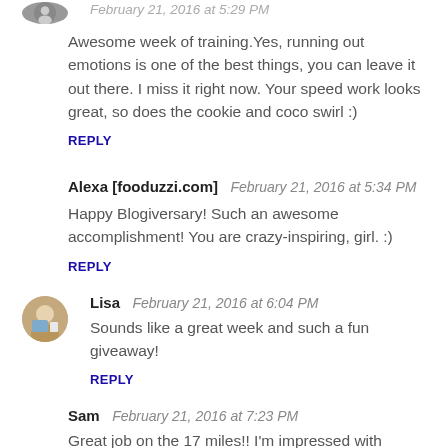February 21, 2016 at 5:29 PM
Awesome week of training.Yes, running out emotions is one of the best things, you can leave it out there. I miss it right now. Your speed work looks great, so does the cookie and coco swirl :)
REPLY
Alexa [fooduzzi.com]  February 21, 2016 at 5:34 PM
Happy Blogiversary! Such an awesome accomplishment! You are crazy-inspiring, girl. :)
REPLY
Lisa  February 21, 2016 at 6:04 PM
Sounds like a great week and such a fun giveaway!
REPLY
Sam  February 21, 2016 at 7:23 PM
Great job on the 17 miles!! I'm impressed with